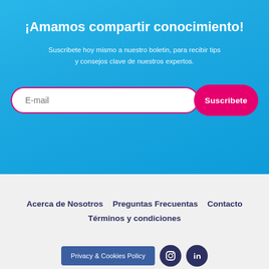¡Amamos compartir conocimiento!
Suscribete hoy mismo a nuestro boletin, para recibir tips y consejos clave de nuestros expertos.
E-mail [input field] Suscribete [button]
Acerca de Nosotros
Preguntas Frecuentas
Contacto
Términos y condiciones
Privacy & Cookies Policy